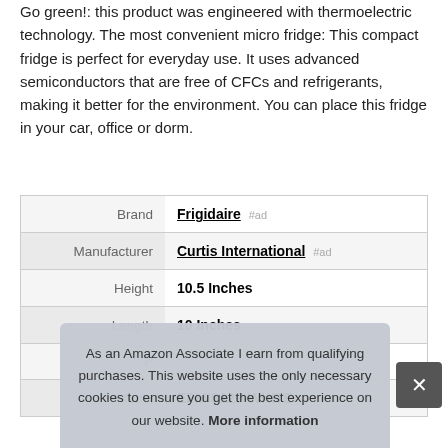Go green!: this product was engineered with thermoelectric technology. The most convenient micro fridge: This compact fridge is perfect for everyday use. It uses advanced semiconductors that are free of CFCs and refrigerants, making it better for the environment. You can place this fridge in your car, office or dorm.
| Brand | Frigidaire #ad |
| Manufacturer | Curtis International #ad |
| Height | 10.5 Inches |
| Length | 10 Inches |
| P... |  |
| Model | EFMIS129-WHITE |
As an Amazon Associate I earn from qualifying purchases. This website uses the only necessary cookies to ensure you get the best experience on our website. More information